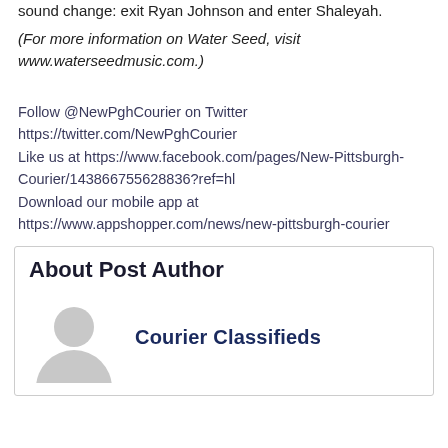sound change: exit Ryan Johnson and enter Shaleyah.
(For more information on Water Seed, visit www.waterseedmusic.com.)
Follow @NewPghCourier on Twitter https://twitter.com/NewPghCourier Like us at https://www.facebook.com/pages/New-Pittsburgh-Courier/143866755628836?ref=hl Download our mobile app at https://www.appshopper.com/news/new-pittsburgh-courier
About Post Author
Courier Classifieds